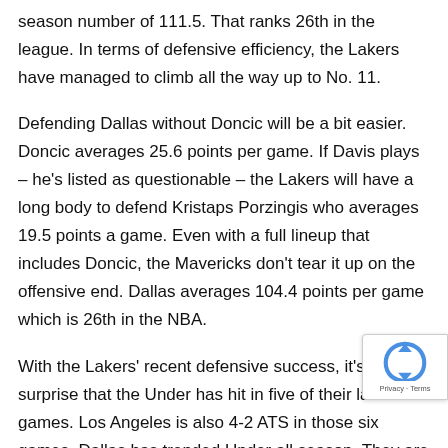season number of 111.5. That ranks 26th in the league. In terms of defensive efficiency, the Lakers have managed to climb all the way up to No. 11.
Defending Dallas without Doncic will be a bit easier. Doncic averages 25.6 points per game. If Davis plays – he's listed as questionable – the Lakers will have a long body to defend Kristaps Porzingis who averages 19.5 points a game. Even with a full lineup that includes Doncic, the Mavericks don't tear it up on the offensive end. Dallas averages 104.4 points per game which is 26th in the NBA.
With the Lakers' recent defensive success, it's no surprise that the Under has hit in five of their last six games. Los Angeles is also 4-2 ATS in those six games. Dallas has trended Under all season. They are one of the league's better defensive teams and at No. 26 in scoring...